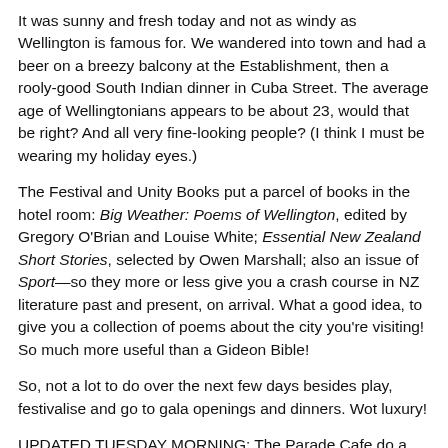It was sunny and fresh today and not as windy as Wellington is famous for. We wandered into town and had a beer on a breezy balcony at the Establishment, then a rooly-good South Indian dinner in Cuba Street. The average age of Wellingtonians appears to be about 23, would that be right? And all very fine-looking people? (I think I must be wearing my holiday eyes.)
The Festival and Unity Books put a parcel of books in the hotel room: Big Weather: Poems of Wellington, edited by Gregory O'Brian and Louise White; Essential New Zealand Short Stories, selected by Owen Marshall; also an issue of Sport—so they more or less give you a crash course in NZ literature past and present, on arrival. What a good idea, to give you a collection of poems about the city you're visiting! So much more useful than a Gideon Bible!
So, not a lot to do over the next few days besides play, festivalise and go to gala openings and dinners. Wot luxury!
UPDATED TUESDAY MORNING: The Parade Cafe do a top breakfast—their Infamous Eggs Benedict make a beachside...